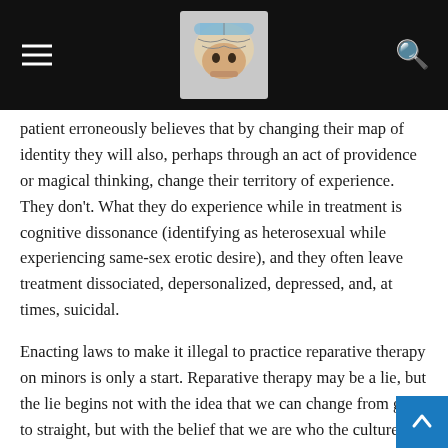patient erroneously believes that by changing their map of identity they will also, perhaps through an act of providence or magical thinking, change their territory of experience. They don't. What they do experience while in treatment is cognitive dissonance (identifying as heterosexual while experiencing same-sex erotic desire), and they often leave treatment dissociated, depersonalized, depressed, and, at times, suicidal.
Enacting laws to make it illegal to practice reparative therapy on minors is only a start. Reparative therapy may be a lie, but the lie begins not with the idea that we can change from gay to straight, but with the belief that we are who the culture tells us we are, that a change to the map of our identity is a change to the territory of our experience. And no one, no matter what age or sexual identity, is safe from that